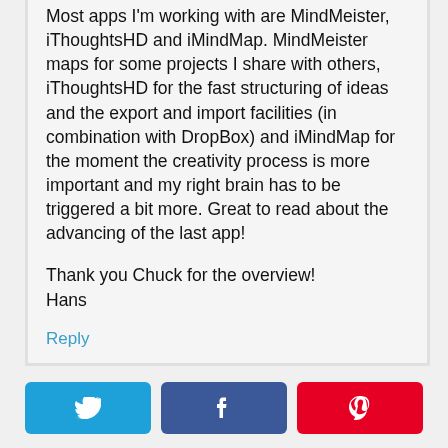Most apps I'm working with are MindMeister, iThoughtsHD and iMindMap. MindMeister maps for some projects I share with others, iThoughtsHD for the fast structuring of ideas and the export and import facilities (in combination with DropBox) and iMindMap for the moment the creativity process is more important and my right brain has to be triggered a bit more. Great to read about the advancing of the last app!

Thank you Chuck for the overview!
Hans
Reply
[Figure (other): Three social sharing buttons at the bottom: Twitter (blue), Facebook (dark blue), Pinterest (red), each with their respective icons.]